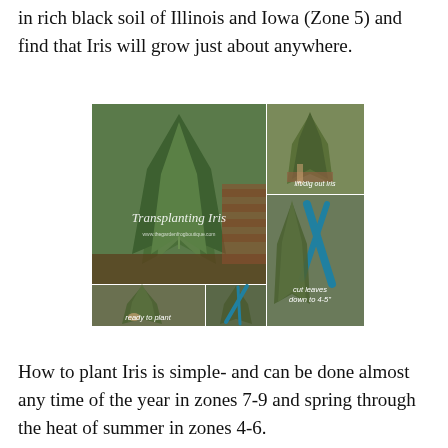in rich black soil of Illinois and Iowa (Zone 5) and find that Iris will grow just about anywhere.
[Figure (photo): Photo collage showing steps for transplanting iris plants. Main large image on left shows iris plants in garden bed with text 'Transplanting Iris' and URL www.thegardenfrогboutique.com. Top right shows iris being lifted/dug out with text 'lift/dig out Iris'. Bottom left shows 'ready to plant'. Bottom center shows cutting. Bottom right shows 'cut leaves down to 4-5"'.]
How to plant Iris is simple- and can be done almost any time of the year in zones 7-9 and spring through the heat of summer in zones 4-6.